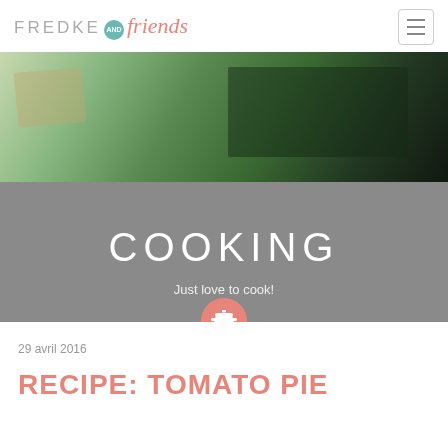FREDKE AND friends
[Figure (photo): Hero banner showing green vegetables/asparagus on dark background with a pink cooking pot icon circle overlay, followed by gray section with COOKING heading and subtitle.]
COOKING
Just love to cook!
29 avril 2016
RECIPE: TOMATO PIE